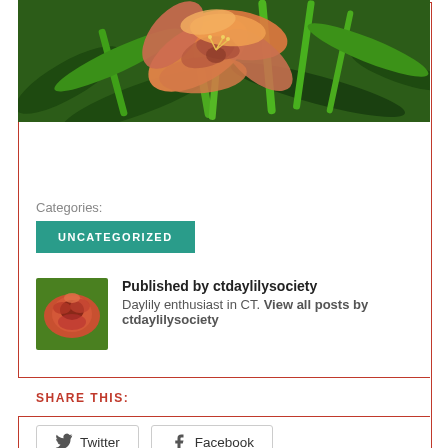[Figure (photo): Photo of an orange and pink daylily flower with green foliage in the background]
Categories:
UNCATEGORIZED
Published by ctdaylilysociety
Daylily enthusiast in CT. View all posts by ctdaylilysociety
SHARE THIS:
Twitter   Facebook